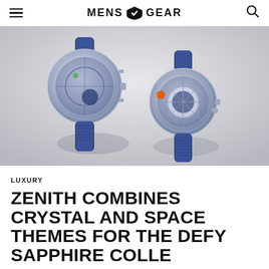MENS GEAR
[Figure (photo): Two Zenith Defy Sapphire watches with blue straps photographed from above on a light grey background. The left watch is a chronograph with exposed skeleton movement and blue accents; the right watch features a distinctive open-worked dial with circular elements and an orange accent.]
LUXURY
ZENITH COMBINES CRYSTAL AND SPACE THEMES FOR THE DEFY SAPPHIRE COLLECTION